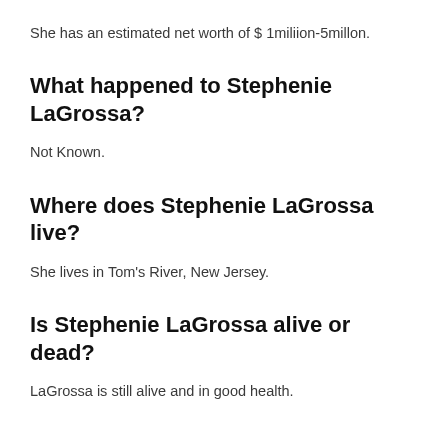She has an estimated net worth of $ 1miliion-5millon.
What happened to Stephenie LaGrossa?
Not Known.
Where does Stephenie LaGrossa live?
She lives in Tom's River, New Jersey.
Is Stephenie LaGrossa alive or dead?
LaGrossa is still alive and in good health.